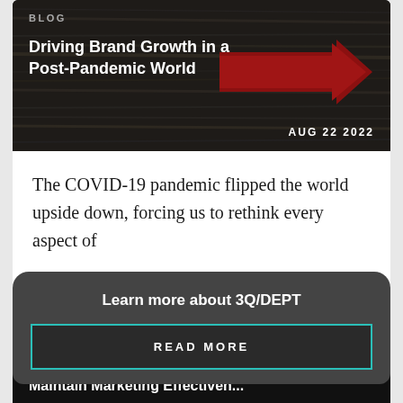[Figure (photo): Dark wood textured background for blog card header with a large red arrow pointing right]
BLOG
Driving Brand Growth in a Post-Pandemic World
AUG 22 2022
The COVID-19 pandemic flipped the world upside down, forcing us to rethink every aspect of
READ ARTICLE →
Learn more about 3Q/DEPT
READ MORE
BLOG
Maintain Marketing Effectiveness During...